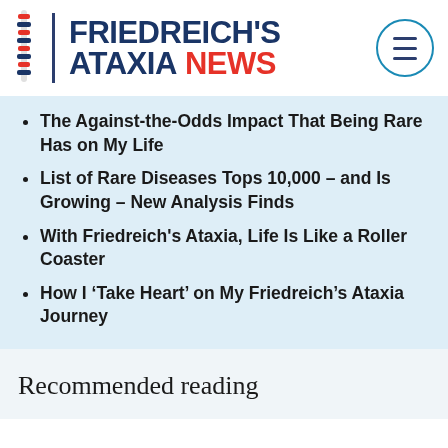FRIEDREICH'S ATAXIA NEWS
The Against-the-Odds Impact That Being Rare Has on My Life
List of Rare Diseases Tops 10,000 – and Is Growing – New Analysis Finds
With Friedreich's Ataxia, Life Is Like a Roller Coaster
How I ‘Take Heart’ on My Friedreich’s Ataxia Journey
Recommended reading